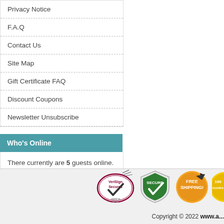Privacy Notice
F.A.Q
Contact Us
Site Map
Gift Certificate FAQ
Discount Coupons
Newsletter Unsubscribe
Who's Online
There currently are 5 guests online.
[Figure (logo): VeriSign Secured badge, Secure shield badge, Free Shipping badge, Satisfaction guarantee badge]
Copyright © 2022 www.a...